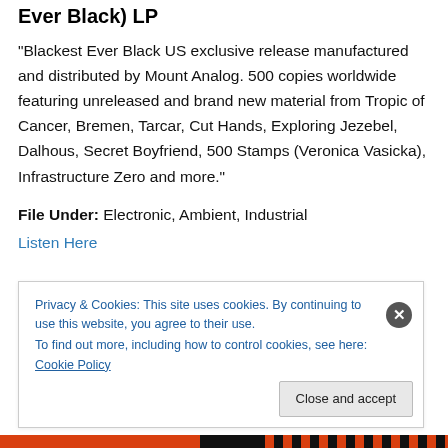Ever Black) LP
“Blackest Ever Black US exclusive release manufactured and distributed by Mount Analog. 500 copies worldwide featuring unreleased and brand new material from Tropic of Cancer, Bremen, Tarcar, Cut Hands, Exploring Jezebel, Dalhous, Secret Boyfriend, 500 Stamps (Veronica Vasicka), Infrastructure Zero and more.”
File Under: Electronic, Ambient, Industrial
Listen Here
Privacy & Cookies: This site uses cookies. By continuing to use this website, you agree to their use.
To find out more, including how to control cookies, see here: Cookie Policy
Close and accept